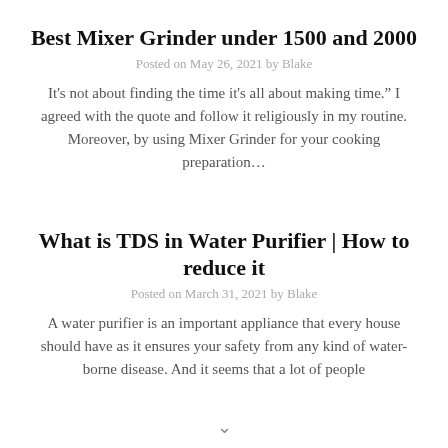Best Mixer Grinder under 1500 and 2000
Posted on May 26, 2021 by Blake
It's not about finding the time it's all about making time.” I agreed with the quote and follow it religiously in my routine. Moreover, by using Mixer Grinder for your cooking preparation…
What is TDS in Water Purifier | How to reduce it
Posted on March 31, 2021 by Blake
A water purifier is an important appliance that every house should have as it ensures your safety from any kind of water-borne disease. And it seems that a lot of people